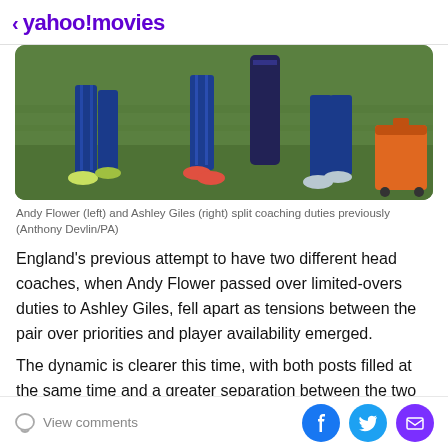< yahoo!movies
[Figure (photo): Three people in blue cricket/sports tracksuits walking on green grass field, lower bodies visible, with sports equipment bag and orange cooler box visible on right.]
Andy Flower (left) and Ashley Giles (right) split coaching duties previously (Anthony Devlin/PA)
England's previous attempt to have two different head coaches, when Andy Flower passed over limited-overs duties to Ashley Giles, fell apart as tensions between the pair over priorities and player availability emerged.
The dynamic is clearer this time, with both posts filled at the same time and a greater separation between the two
View comments